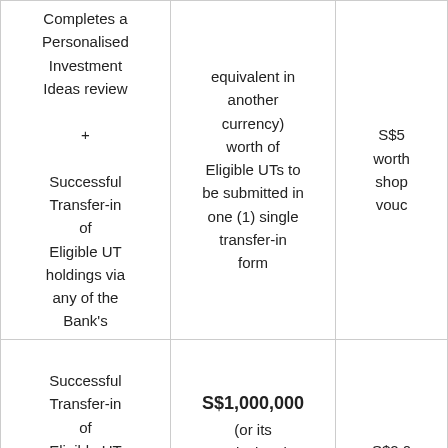| Action / Condition | Minimum Transfer Amount | Reward |
| --- | --- | --- |
| Completes a Personalised Investment Ideas review
+
Successful Transfer-in of Eligible UT holdings via any of the Bank's | equivalent in another currency) worth of Eligible UTs to be submitted in one (1) single transfer-in form | S$5 worth shopping vouch... |
| Successful Transfer-in of Eligible UT holdings via any of the Bank's | S$1,000,000 (or its equivalent in another currency) | S$2,0... |